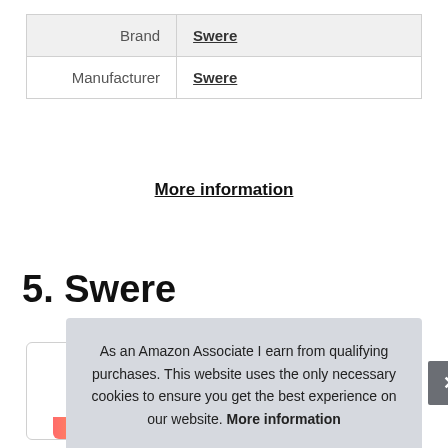|  |  |
| --- | --- |
| Brand | Swere |
| Manufacturer | Swere |
More information
5. Swere
[Figure (other): Product card box with colorful candy image at the bottom]
As an Amazon Associate I earn from qualifying purchases. This website uses the only necessary cookies to ensure you get the best experience on our website. More information